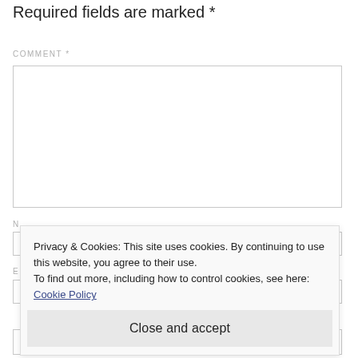Required fields are marked *
COMMENT *
Privacy & Cookies: This site uses cookies. By continuing to use this website, you agree to their use.
To find out more, including how to control cookies, see here: Cookie Policy
Close and accept